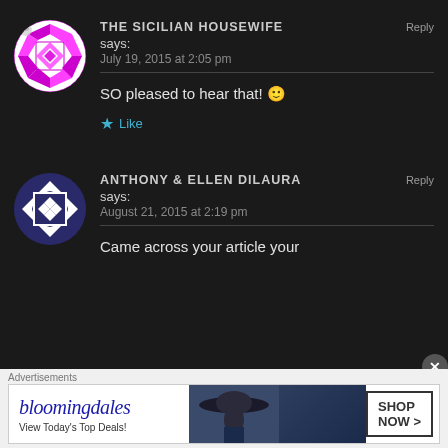[Figure (illustration): Circular avatar with magenta/pink geometric star pattern on white background, with a small user icon overlay at top-left]
THE SICILIAN HOUSEWIFE says:
July 19, 2015 at 2:05 pm
SO pleased to hear that! 🙂
★ Like
[Figure (illustration): Circular avatar with navy blue and white diamond/checker geometric pattern]
ANTHONY & ELLEN DILAURA says:
August 21, 2015 at 2:19 pm
Came across your article your
Advertisements
[Figure (photo): Bloomingdales advertisement banner: logo text 'bloomingdales' with tagline 'View Today's Top Deals!' and a woman wearing a large dark hat, with 'SHOP NOW >' button]